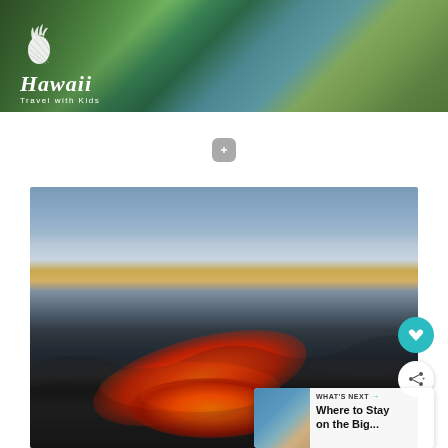[Figure (photo): Wide panoramic banner photo of a lush green Hawaiian valley with dramatic ridged mountains, ocean visible in the background. Overlay shows the 'Hawaii Travel with Kids' logo with a pineapple icon in white text.]
[Figure (photo): Close-up dramatic photo of hardened black lava fields with glowing orange lava visible in the centre-left, under a dusky sky with warm golden and blue cloud tones. Overlaid with a heart (favourite) button in teal, a share button in white, and a 'WHAT'S NEXT' card reading 'Where to Stay on the Big...' with a small beach thumbnail.]
WHAT'S NEXT → Where to Stay on the Big...